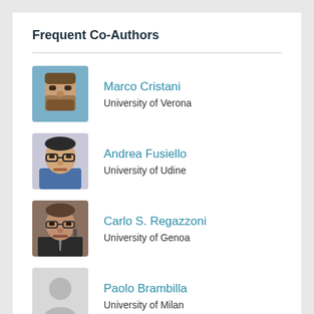Frequent Co-Authors
Marco Cristani
University of Verona
Andrea Fusiello
University of Udine
Carlo S. Regazzoni
University of Genoa
Paolo Brambilla
University of Milan
Alessandro Vinciarelli
University of Gl...